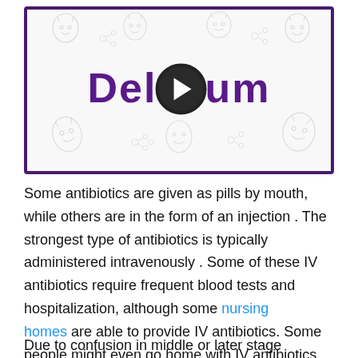[Figure (illustration): Video thumbnail with purple border showing the word DELIRIUM in large bold purple letters with a play button circle overlaid on the R. Background has light gray sketched face illustrations around the title.]
Some antibiotics are given as pills by mouth, while others are in the form of an injection . The strongest type of antibiotics is typically administered intravenously . Some of these IV antibiotics require frequent blood tests and hospitalization, although some nursing homes are able to provide IV antibiotics. Some people might even go home with IV antibiotics and have a nurse come regularly to assist in administering them.
Due to confusion in middle or later stage dementia, people